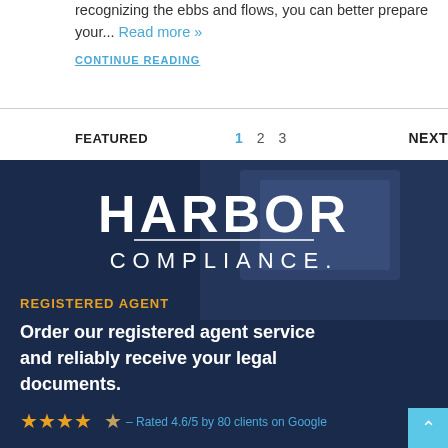recognizing the ebbs and flows, you can better prepare your... Read more »
CONTINUE READING
FEATURED
1  2  3  NEXT
[Figure (photo): Harbor Compliance advertisement banner showing the Harbor Compliance logo, 'REGISTERED AGENT' label in orange, text reading 'Order our registered agent service and reliably receive your legal documents.' and star rating 'Rated 4.6/5 by 80 clients on Google']